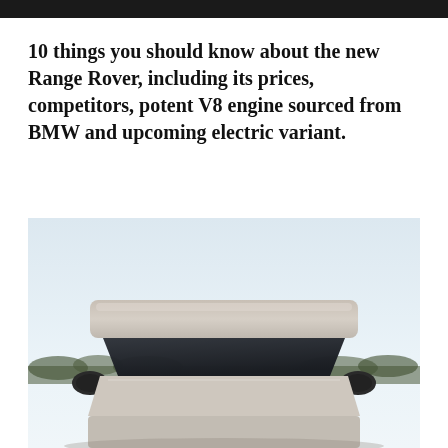10 things you should know about the new Range Rover, including its prices, competitors, potent V8 engine sourced from BMW and upcoming electric variant.
[Figure (photo): Front view of a new Range Rover SUV photographed outdoors against a pale sky with trees in the background. The vehicle is shown from a straight-on angle, displaying the windscreen, roof, side mirrors, and front body panels in a silver/champagne color.]